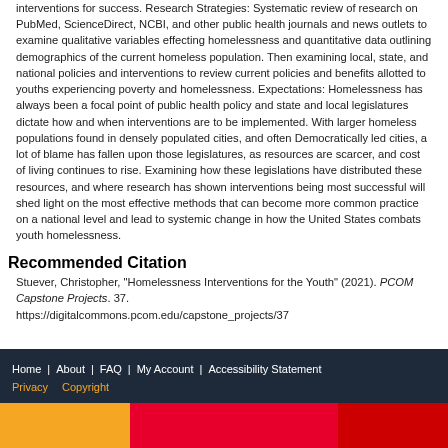interventions for success. Research Strategies: Systematic review of research on PubMed, ScienceDirect, NCBI, and other public health journals and news outlets to examine qualitative variables effecting homelessness and quantitative data outlining demographics of the current homeless population. Then examining local, state, and national policies and interventions to review current policies and benefits allotted to youths experiencing poverty and homelessness. Expectations: Homelessness has always been a focal point of public health policy and state and local legislatures dictate how and when interventions are to be implemented. With larger homeless populations found in densely populated cities, and often Democratically led cities, a lot of blame has fallen upon those legislatures, as resources are scarcer, and cost of living continues to rise. Examining how these legislations have distributed these resources, and where research has shown interventions being most successful will shed light on the most effective methods that can become more common practice on a national level and lead to systemic change in how the United States combats youth homelessness.
Recommended Citation
Stuever, Christopher, "Homelessness Interventions for the Youth" (2021). PCOM Capstone Projects. 37.
https://digitalcommons.pcom.edu/capstone_projects/37
Home | About | FAQ | My Account | Accessibility Statement
Privacy   Copyright